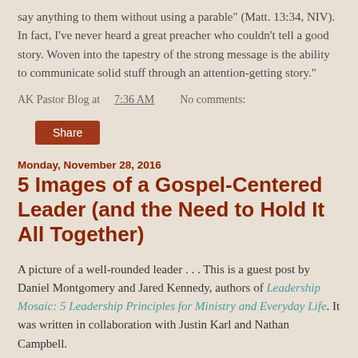say anything to them without using a parable" (Matt. 13:34, NIV). In fact, I've never heard a great preacher who couldn't tell a good story. Woven into the tapestry of the strong message is the ability to communicate solid stuff through an attention-getting story."
AK Pastor Blog at 7:36 AM   No comments:
Share
Monday, November 28, 2016
5 Images of a Gospel-Centered Leader (and the Need to Hold It All Together)
A picture of a well-rounded leader . . . This is a guest post by Daniel Montgomery and Jared Kennedy, authors of Leadership Mosaic: 5 Leadership Principles for Ministry and Everyday Life. It was written in collaboration with Justin Karl and Nathan Campbell.